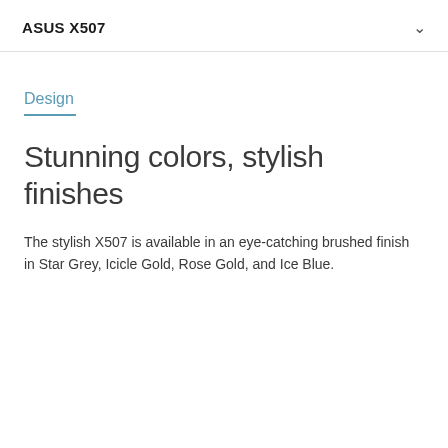ASUS X507
Design
Stunning colors, stylish finishes
The stylish X507 is available in an eye-catching brushed finish in Star Grey, Icicle Gold, Rose Gold, and Ice Blue.